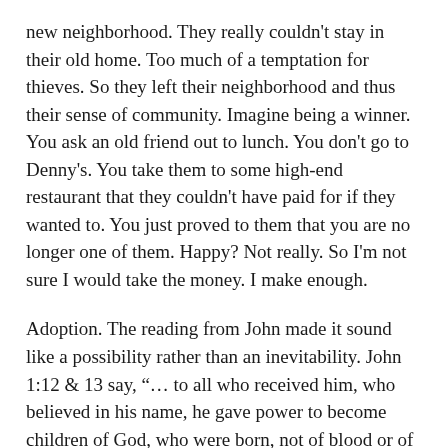new neighborhood. They really couldn't stay in their old home. Too much of a temptation for thieves. So they left their neighborhood and thus their sense of community. Imagine being a winner. You ask an old friend out to lunch. You don't go to Denny's. You take them to some high-end restaurant that they couldn't have paid for if they wanted to. You just proved to them that you are no longer one of them. Happy? Not really. So I'm not sure I would take the money. I make enough.
Adoption. The reading from John made it sound like a possibility rather than an inevitability. John 1:12 & 13 say, "... to all who received him, who believed in his name, he gave power to become children of God, who were born, not of blood or of the will of the flesh or of the will of man, but of God." John says we are given the "power" to become children of God. But what does Galatians say? Paul says that Jesus came to bring us into sonship with God. In Galatians 4:6 this is what Paul writes,